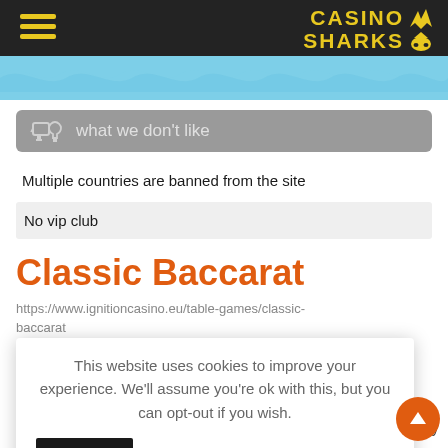Casino Sharks
what we don't like
Multiple countries are banned from the site
No vip club
Classic Baccarat
https://www.ignitioncasino.eu/table-games/classic-baccarat
This website uses cookies to improve your experience. We'll assume you're ok with this, but you can opt-out if you wish.
an be definitely ever made by avored among centered on favorites like
online Roulette. Where to play with Vintage Ignition